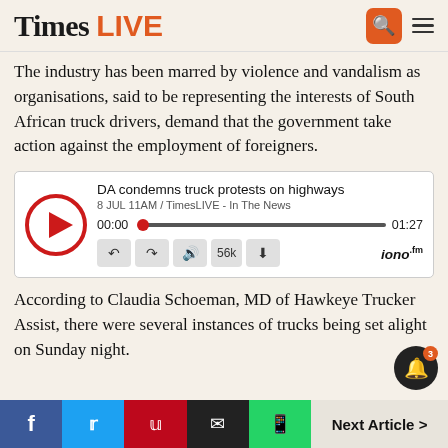Times LIVE
The industry has been marred by violence and vandalism as organisations, said to be representing the interests of South African truck drivers, demand that the government take action against the employment of foreigners.
[Figure (screenshot): Audio player widget showing 'DA condemns truck protests on highways', 8 JUL 11AM / TimesLIVE - In The News, progress bar at 00:00 / 01:27, playback controls including rewind, forward, volume, 56k, download, and iono.fm logo]
According to Claudia Schoeman, MD of Hawkeye Trucker Assist, there were several instances of trucks being set alight on Sunday night.
f  Twitter  Pinterest  Email  WhatsApp  Next Article >